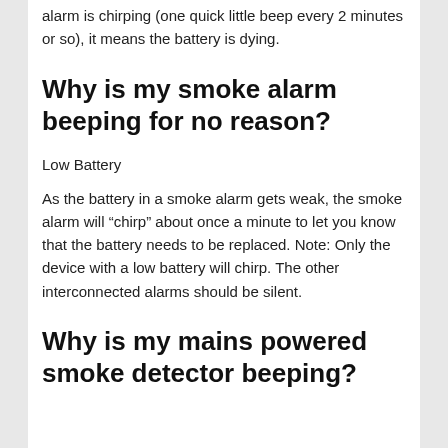alarm is chirping (one quick little beep every 2 minutes or so), it means the battery is dying.
Why is my smoke alarm beeping for no reason?
Low Battery
As the battery in a smoke alarm gets weak, the smoke alarm will “chirp” about once a minute to let you know that the battery needs to be replaced. Note: Only the device with a low battery will chirp. The other interconnected alarms should be silent.
Why is my mains powered smoke detector beeping?